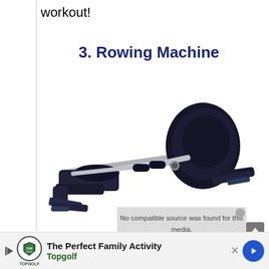workout!
3. Rowing Machine
[Figure (photo): A rowing machine (ergometer) shown in a dark navy/black color with a sliding seat rail, foot straps, and handle grips. The machine is viewed from a slight left-front perspective.]
No compatible source was found for this media.
The Perfect Family Activity
Topgolf